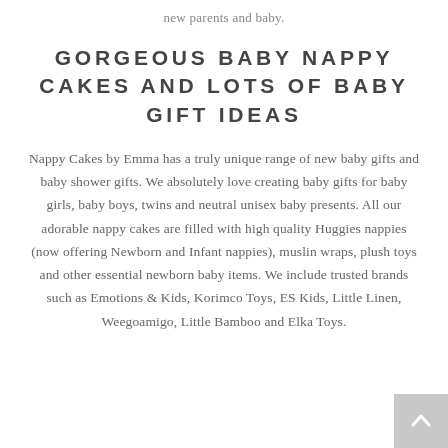new parents and baby.
GORGEOUS BABY NAPPY CAKES AND LOTS OF BABY GIFT IDEAS
Nappy Cakes by Emma has a truly unique range of new baby gifts and baby shower gifts. We absolutely love creating baby gifts for baby girls, baby boys, twins and neutral unisex baby presents. All our adorable nappy cakes are filled with high quality Huggies nappies (now offering Newborn and Infant nappies), muslin wraps, plush toys and other essential newborn baby items. We include trusted brands such as Emotions & Kids, Korimco Toys, ES Kids, Little Linen, Weegoamigo, Little Bamboo and Elka Toys.